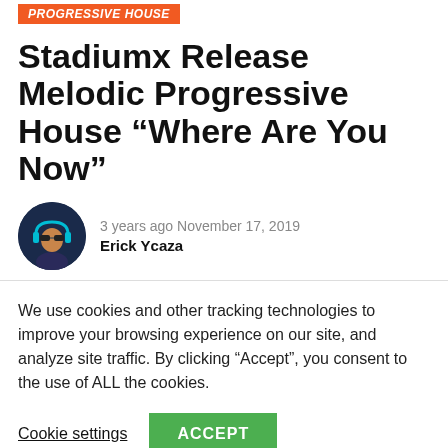PROGRESSIVE HOUSE
Stadiumx Release Melodic Progressive House “Where Are You Now”
3 years ago November 17, 2019
Erick Ycaza
We use cookies and other tracking technologies to improve your browsing experience on our site, and analyze site traffic. By clicking “Accept”, you consent to the use of ALL the cookies.
Cookie settings  ACCEPT